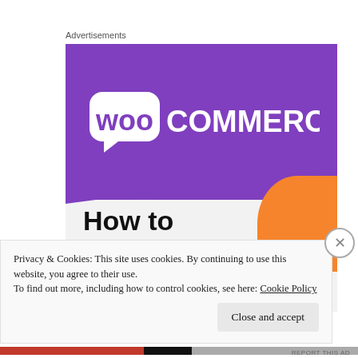Advertisements
[Figure (logo): WooCommerce advertisement banner. Purple background with WooCommerce logo (speech bubble with 'woo' text and 'COMMERCE' text). An orange decorative shape in the lower right. Text below reads 'How to start selling' in bold black on light gray background.]
Privacy & Cookies: This site uses cookies. By continuing to use this website, you agree to their use.
To find out more, including how to control cookies, see here: Cookie Policy
Close and accept